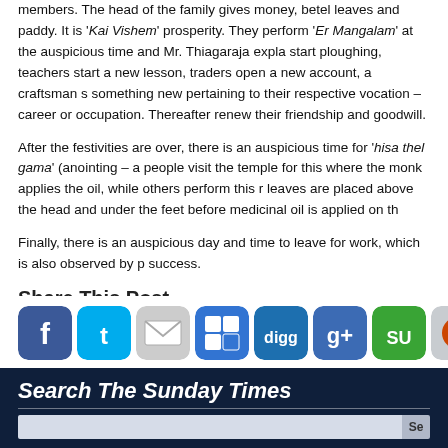members. The head of the family gives money, betel leaves and paddy. It is 'Kai Vishem' prosperity. They perform 'Er Mangalam' at the auspicious time and Mr. Thiagaraja expla start ploughing, teachers start a new lesson, traders open a new account, a craftsman s something new pertaining to their respective vocation – career or occupation. Thereafter renew their friendship and goodwill.
After the festivities are over, there is an auspicious time for 'hisa thel gama' (anointing – a people visit the temple for this where the monk applies the oil, while others perform this r leaves are placed above the head and under the feet before medicinal oil is applied on th
Finally, there is an auspicious day and time to leave for work, which is also observed by p success.
Share This Post
[Figure (infographic): Row of social media sharing icons: Facebook, Twitter, Email, Delicious, Digg, Google+, StumbleUpon, Reddit, Speakr, Bebo, Blogger, MySpace, and one more partially visible]
Search The Sunday Times
[Figure (screenshot): Search input box with 'Se' button on dark navy background]